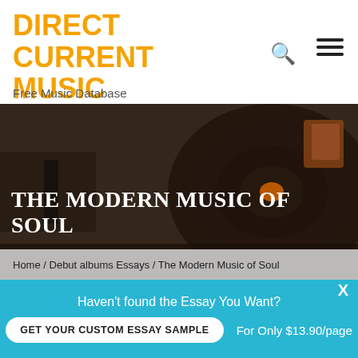DIRECT CURRENT MUSIC
Free Music Database
[Figure (screenshot): Hero image of a vinyl record player with dark brown tones]
THE MODERN MUSIC OF SOUL
Home / Debut albums Essays / The Modern Music of Soul
Haven't found the Essay You Want?
GET YOUR CUSTOM ESSAY SAMPLE
For Only $13.90/page